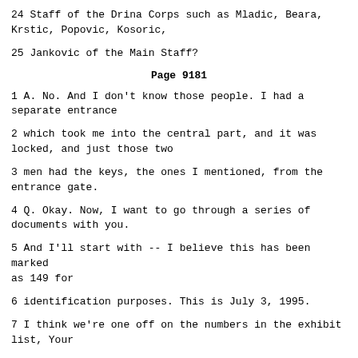24 Staff of the Drina Corps such as Mladic, Beara, Krstic, Popovic, Kosoric,
25 Jankovic of the Main Staff?
Page 9181
1 A. No. And I don't know those people. I had a separate entrance
2 which took me into the central part, and it was locked, and just those two
3 men had the keys, the ones I mentioned, from the entrance gate.
4 Q. Okay. Now, I want to go through a series of documents with you.
5 And I'll start with -- I believe this has been marked as 149 for
6 identification purposes. This is July 3, 1995.
7 I think we're one off on the numbers in the exhibit list, Your
8 Honours. We'll try to cure that.
9 Do you see this document, sir?
10 A. Y